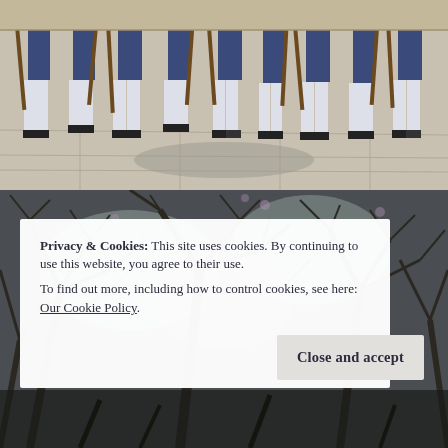[Figure (photo): Soldiers in blue uniforms and white pants holding rifles, standing on stone pavement. Only their lower bodies from waist down are visible.]
[Figure (photo): Dark, moody photograph of bare tree branches against a pale sky, viewed from below looking upward.]
Privacy & Cookies: This site uses cookies. By continuing to use this website, you agree to their use.
To find out more, including how to control cookies, see here: Our Cookie Policy.